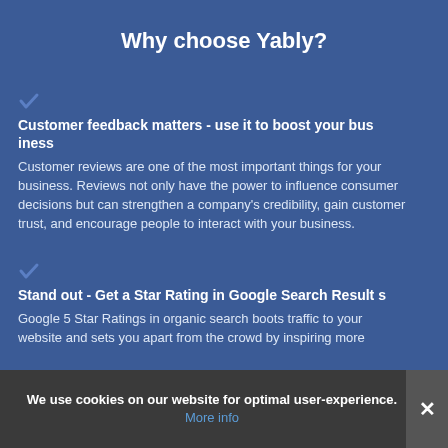Why choose Yably?
Customer feedback matters - use it to boost your business
Customer reviews are one of the most important things for your business. Reviews not only have the power to influence consumer decisions but can strengthen a company's credibility, gain customer trust, and encourage people to interact with your business.
Stand out - Get a Star Rating in Google Search Results
Google 5 Star Ratings in organic search boots traffic to your website and sets you apart from the crowd by inspiring more
We use cookies on our website for optimal user-experience.
More info